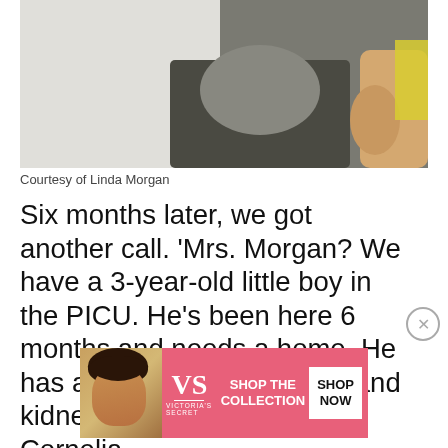[Figure (photo): A child wearing a white cable-knit sweater, holding what appears to a dark object, with a yellow item visible at the edge.]
Courtesy of Linda Morgan
Six months later, we got another call. 'Mrs. Morgan? We have a 3-year-old little boy in the PICU. He's been here 6 months and needs a home. He has a trach and vent, heart and kidney defects. He has Cornelia
[Figure (screenshot): Victoria's Secret advertisement banner: image of a woman with curly hair, VS logo, text 'SHOP THE COLLECTION', and a white 'SHOP NOW' button.]